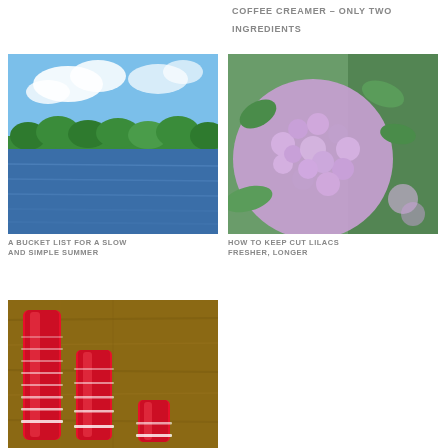COFFEE CREAMER – ONLY TWO INGREDIENTS
[Figure (photo): Scenic lake with green trees lining the shore and blue sky with clouds above]
[Figure (photo): Close-up of pink/purple lilac flowers with green leaves]
A BUCKET LIST FOR A SLOW AND SIMPLE SUMMER
HOW TO KEEP CUT LILACS FRESHER, LONGER
[Figure (photo): Three stacks of red plastic party cups on a wooden table]